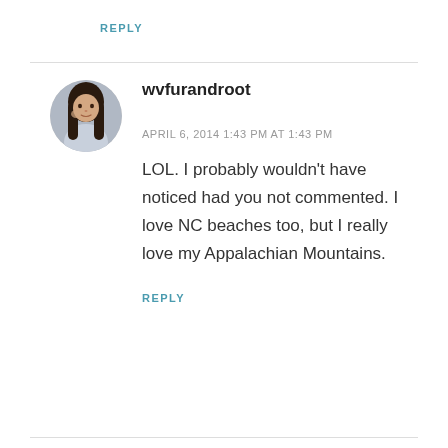REPLY
[Figure (photo): Circular avatar photo of a woman with long dark hair, wearing a light colored top, posed with hand near face]
wvfurandroot
APRIL 6, 2014 1:43 PM AT 1:43 PM
LOL. I probably wouldn't have noticed had you not commented. I love NC beaches too, but I really love my Appalachian Mountains.
REPLY